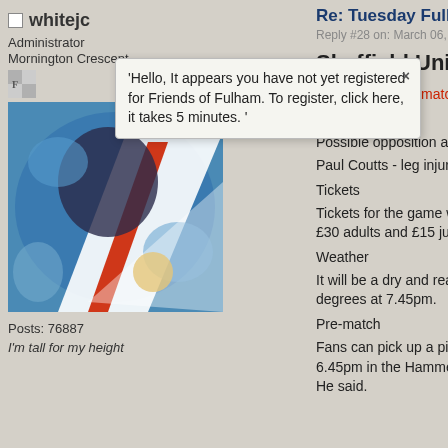whitejc
Administrator
Mornington Crescent
[Figure (illustration): Small Fulham FC crest icon]
[Figure (illustration): Avatar image: colorful artistic illustration with blue, red, white design]
Posts: 76887
I'm tall for my height
Re: Tuesday Fulham Stuff (06/03/
Reply #28 on: March 06, 2018, 11:58:4
'Hello, It appears you have not yet registered for Friends of Fulham. To register, click here, it takes 5 minutes. '
Sheffield United in Focus
All the latest pre-match information ahead of... Cottage.
Possible opposition absentees
Paul Coutts - leg injury
Tickets
Tickets for the game will be available for s... £30 adults and £15 juniors.
Weather
It will be a dry and reasonably mild evenin... degrees at 7.45pm.
Pre-match
Fans can pick up a pint of Carlsberg or So... 6.45pm in the Hammersmith, Riverside an... He said.